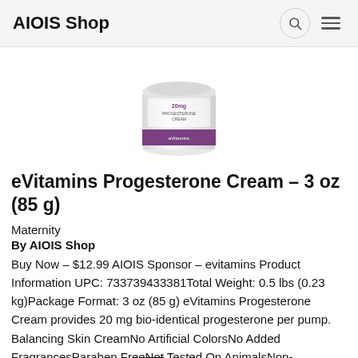AIOIS Shop
[Figure (photo): Product image of eVitamins Progesterone Cream jar with purple label]
eVitamins Progesterone Cream – 3 oz (85 g)
Maternity
By AIOIS Shop
Buy Now – $12.99 AIOIS Sponsor – evitamins Product Information UPC: 733739433381Total Weight: 0.5 lbs (0.23 kg)Package Format: 3 oz (85 g) eVitamins Progesterone Cream provides 20 mg bio-identical progesterone per pump. Balancing Skin CreamNo Artificial ColorsNo Added FragrancesParaben FreeNot Tested On AnimalsNon-GMOVegetarian/VeganNo